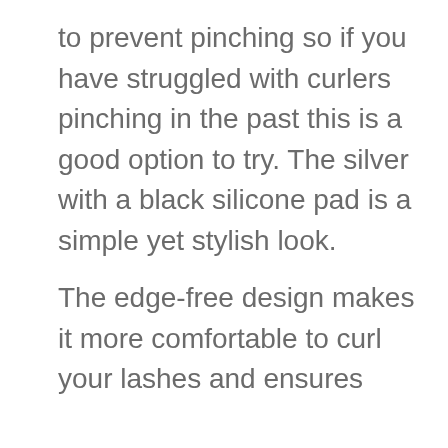to prevent pinching so if you have struggled with curlers pinching in the past this is a good option to try. The silver with a black silicone pad is a simple yet stylish look.
The edge-free design makes it more comfortable to curl your lashes and ensures